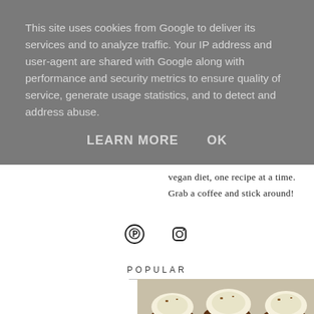This site uses cookies from Google to deliver its services and to analyze traffic. Your IP address and user-agent are shared with Google along with performance and security metrics to ensure quality of service, generate usage statistics, and to detect and address abuse.
LEARN MORE   OK
vegan diet, one recipe at a time.
Grab a coffee and stick around!
[Figure (other): Pinterest and Instagram social media icons]
POPULAR
[Figure (photo): Photo of chocolate cupcakes with white frosting and chopped nuts on top]